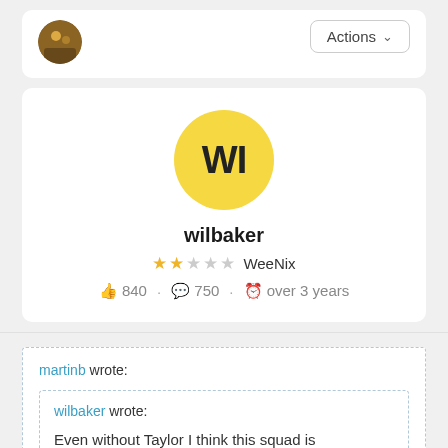[Figure (screenshot): Top card with user avatar (small circular photo) and Actions button with chevron]
[Figure (screenshot): Profile card with yellow WI avatar circle, username wilbaker, 2-star WeeNix rank, stats: 840 likes, 750 comments, over 3 years]
martinb wrote:
wilbaker wrote: Even without Taylor I think this squad is